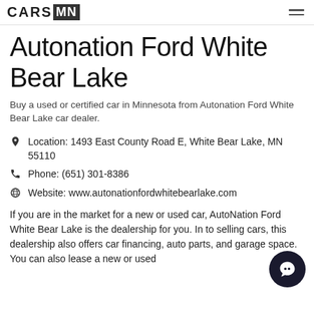CARS MN
Autonation Ford White Bear Lake
Buy a used or certified car in Minnesota from Autonation Ford White Bear Lake car dealer.
Location: 1493 East County Road E, White Bear Lake, MN 55110
Phone: (651) 301-8386
Website: www.autonationfordwhitebearlake.com
If you are in the market for a new or used car, AutoNation Ford White Bear Lake is the dealership for you. In to selling cars, this dealership also offers car financing, auto parts, and garage space. You can also lease a new or used